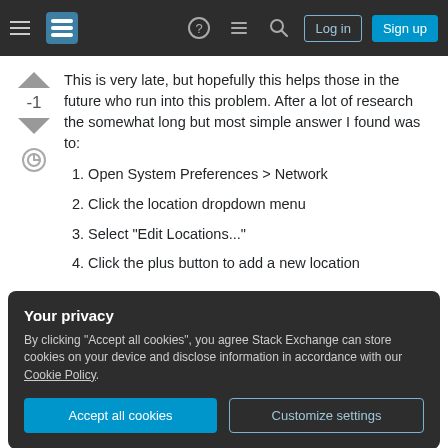Stack Exchange navigation bar with Log in and Sign up buttons
This is very late, but hopefully this helps those in the future who run into this problem. After a lot of research the somewhat long but most simple answer I found was to:
1. Open System Preferences > Network
2. Click the location dropdown menu
3. Select "Edit Locations..."
4. Click the plus button to add a new location
Your privacy
By clicking "Accept all cookies", you agree Stack Exchange can store cookies on your device and disclose information in accordance with our Cookie Policy.
Accept all cookies  Customize settings